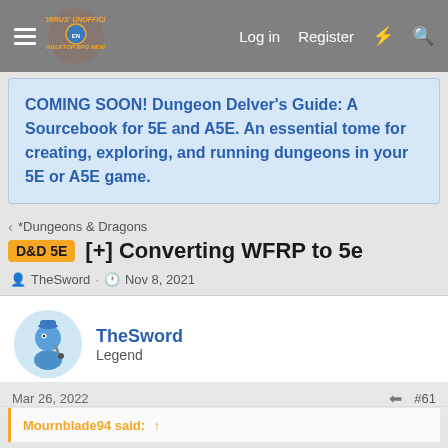Morrus' Unofficial Tabletop RPG News — Log in  Register
COMING SOON! Dungeon Delver's Guide: A Sourcebook for 5E and A5E. An essential tome for creating, exploring, and running dungeons in your 5E or A5E game.
< *Dungeons & Dragons
D&D 5E  [+] Converting WFRP to 5e
TheSword · Nov 8, 2021
TheSword
Legend
Mar 26, 2022    #61
Mournblade94 said: